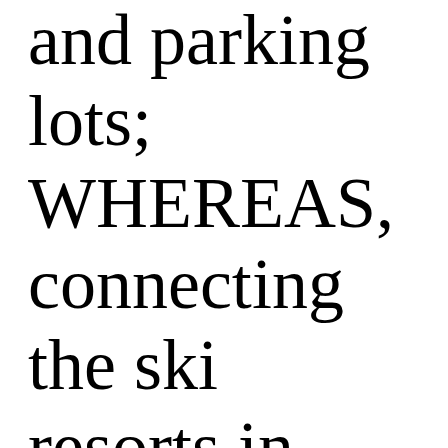and parking lots; WHEREAS, connecting the ski resorts in Summit